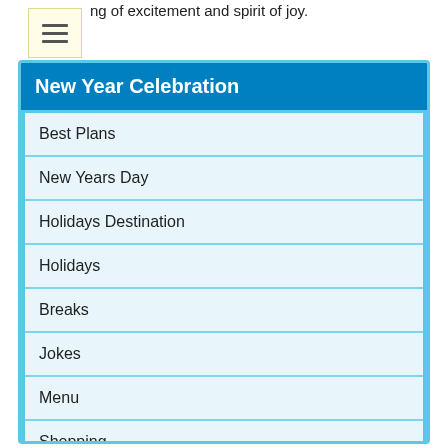…ng of excitement and spirit of joy.
New Year Celebration
Best Plans
New Years Day
Holidays Destination
Holidays
Breaks
Jokes
Menu
Shopping
Enjoy
Songs